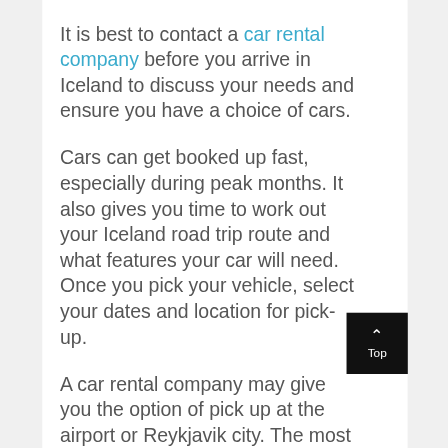It is best to contact a car rental company before you arrive in Iceland to discuss your needs and ensure you have a choice of cars.

Cars can get booked up fast, especially during peak months. It also gives you time to work out your Iceland road trip route and what features your car will need. Once you pick your vehicle, select your dates and location for pick-up.

A car rental company may give you the option of pick up at the airport or Reykjavik city. The most convenient option is renting your